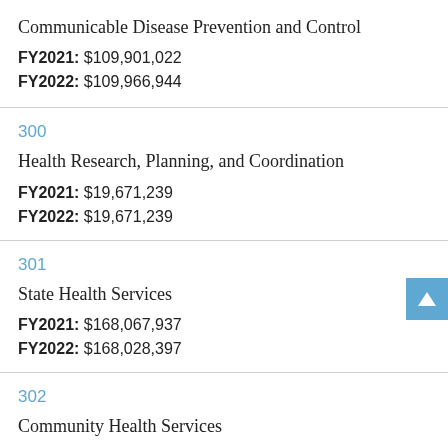Communicable Disease Prevention and Control
FY2021: $109,901,022
FY2022: $109,966,944
300
Health Research, Planning, and Coordination
FY2021: $19,671,239
FY2022: $19,671,239
301
State Health Services
FY2021: $168,067,937
FY2022: $168,028,397
302
Community Health Services